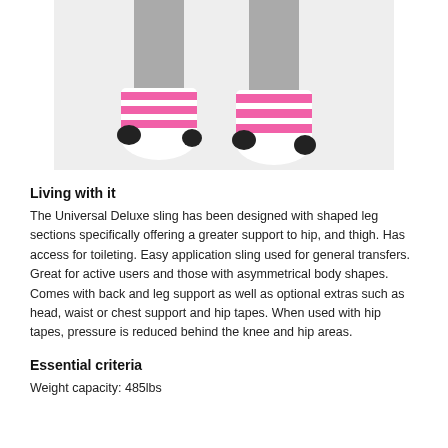[Figure (photo): Photo showing lower legs/feet wearing pink and white striped socks with black toe caps, grey trousers, on a light grey background]
Living with it
The Universal Deluxe sling has been designed with shaped leg sections specifically offering a greater support to hip, and thigh. Has access for toileting. Easy application sling used for general transfers. Great for active users and those with asymmetrical body shapes. Comes with back and leg support as well as optional extras such as head, waist or chest support and hip tapes. When used with hip tapes, pressure is reduced behind the knee and hip areas.
Essential criteria
Weight capacity: 485lbs